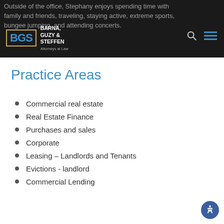Outside of the office, Stephany enjoys spending time with family and friends, traveling, staying active, extreme sports, bungee jumping, and attending concerts.
[Figure (logo): BGS Barna, Guzy & Steffen Attorneys at Law logo with search and menu icons on dark background header]
Practice Areas
Commercial real estate
Real Estate Finance
Purchases and sales
Corporate
Leasing – Landlords and Tenants
Evictions - landlord
Commercial Lending